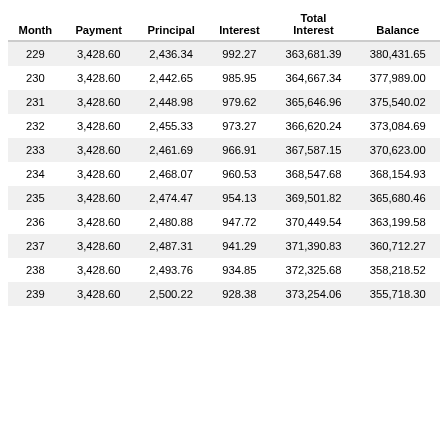| Month | Payment | Principal | Interest | Total Interest | Balance |
| --- | --- | --- | --- | --- | --- |
| 229 | 3,428.60 | 2,436.34 | 992.27 | 363,681.39 | 380,431.65 |
| 230 | 3,428.60 | 2,442.65 | 985.95 | 364,667.34 | 377,989.00 |
| 231 | 3,428.60 | 2,448.98 | 979.62 | 365,646.96 | 375,540.02 |
| 232 | 3,428.60 | 2,455.33 | 973.27 | 366,620.24 | 373,084.69 |
| 233 | 3,428.60 | 2,461.69 | 966.91 | 367,587.15 | 370,623.00 |
| 234 | 3,428.60 | 2,468.07 | 960.53 | 368,547.68 | 368,154.93 |
| 235 | 3,428.60 | 2,474.47 | 954.13 | 369,501.82 | 365,680.46 |
| 236 | 3,428.60 | 2,480.88 | 947.72 | 370,449.54 | 363,199.58 |
| 237 | 3,428.60 | 2,487.31 | 941.29 | 371,390.83 | 360,712.27 |
| 238 | 3,428.60 | 2,493.76 | 934.85 | 372,325.68 | 358,218.52 |
| 239 | 3,428.60 | 2,500.22 | 928.38 | 373,254.06 | 355,718.30 |